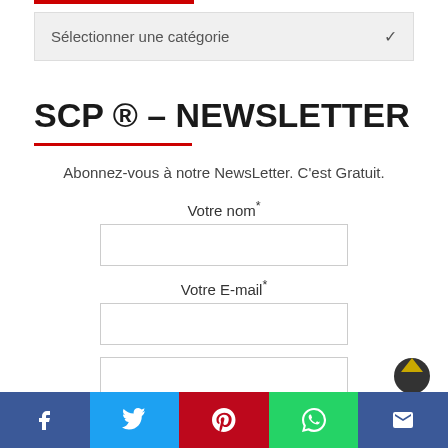[Figure (screenshot): Dropdown selector showing 'Sélectionner une catégorie' with a chevron arrow]
SCP ® – NEWSLETTER
Abonnez-vous à notre NewsLetter. C'est Gratuit.
Votre nom*
Votre E-mail*
JE M'ABONNE
[Figure (infographic): Social media share bar with Facebook, Twitter, Pinterest, WhatsApp, and Email icons]